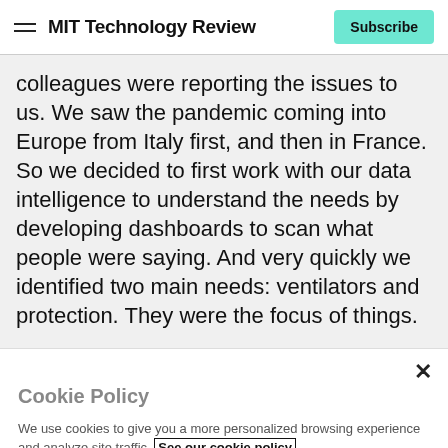MIT Technology Review | Subscribe
colleagues were reporting the issues to us. We saw the pandemic coming into Europe from Italy first, and then in France. So we decided to first work with our data intelligence to understand the needs by developing dashboards to scan what people were saying. And very quickly we identified two main needs: ventilators and protection. They were the focus of things.
Cookie Policy
We use cookies to give you a more personalized browsing experience and analyze site traffic. See our cookie policy
Accept all cookies
Cookies settings